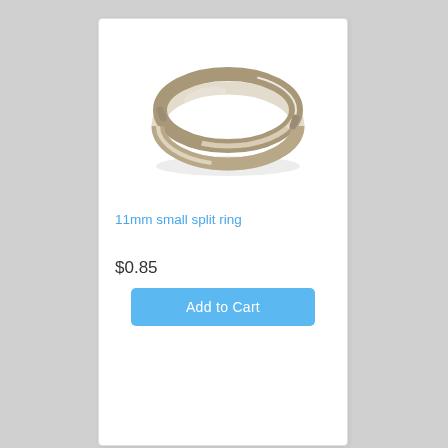[Figure (illustration): A silver/nickel-colored 11mm small split ring (double-loop keyring style) photographed on white background.]
11mm small split ring
$0.85
Add to Cart